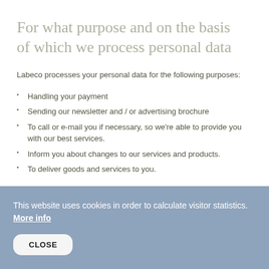For what purpose and on the basis of which we process personal data
Labeco processes your personal data for the following purposes:
Handling your payment
Sending our newsletter and / or advertising brochure
To call or e-mail you if necessary, so we're able to provide you with our best services.
Inform you about changes to our services and products.
To deliver goods and services to you.
This website uses cookies in order to calculate visitor statistics. More info
CLOSE